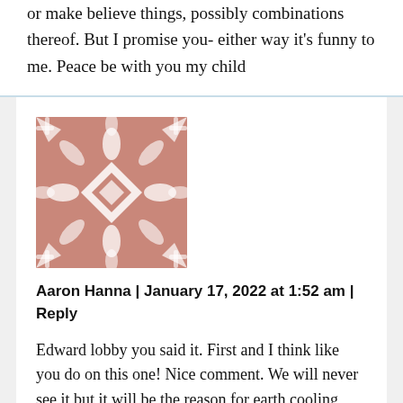or make believe things, possibly combinations thereof. But I promise you- either way it's funny to me. Peace be with you my child
[Figure (illustration): Decorative geometric pattern avatar in dusty rose/mauve and white, with repeating diamond and leaf motifs]
Aaron Hanna | January 17, 2022 at 1:52 am | Reply
Edward lobby you said it. First and I think like you do on this one! Nice comment. We will never see it but it will be the reason for earth cooling down. Because air won't replace oil and water in there.